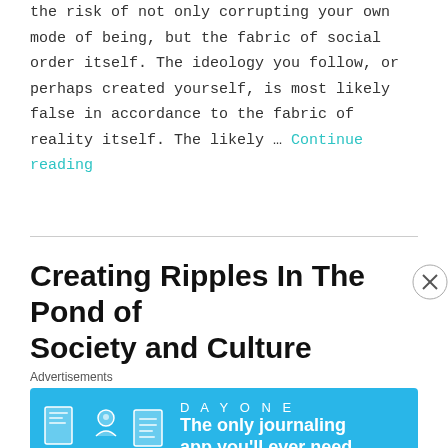the risk of not only corrupting your own mode of being, but the fabric of social order itself. The ideology you follow, or perhaps created yourself, is most likely false in accordance to the fabric of reality itself. The likely … Continue reading
Creating Ripples In The Pond of Society and Culture
[Figure (other): DAY ONE journal app advertisement banner with blue background, app icons, and text 'The only journaling app you'll ever need.']